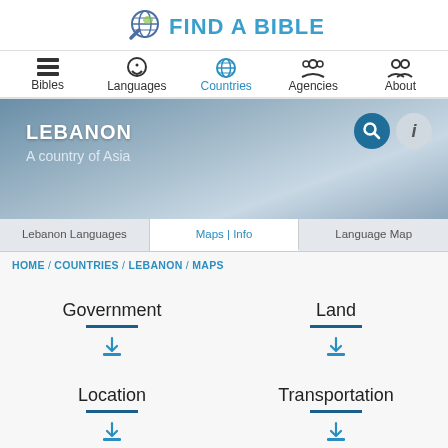FIND A BIBLE
Bibles
Languages
Countries
Agencies
About
LEBANON
A country of Asia
Lebanon Languages
Maps | Info
Language Map
HOME / COUNTRIES / LEBANON / MAPS
Government
Land
Location
Transportation